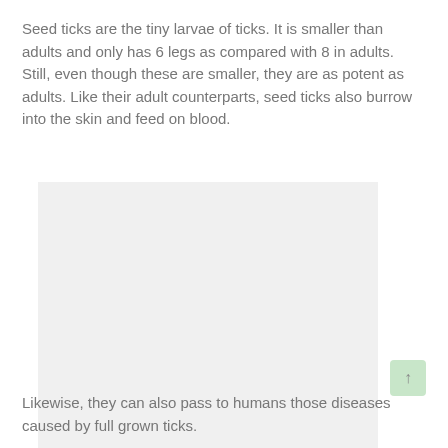Seed ticks are the tiny larvae of ticks. It is smaller than adults and only has 6 legs as compared with 8 in adults. Still, even though these are smaller, they are as potent as adults. Like their adult counterparts, seed ticks also burrow into the skin and feed on blood.
[Figure (photo): A light gray placeholder rectangle representing an image of seed ticks or related content.]
Likewise, they can also pass to humans those diseases caused by full grown ticks.